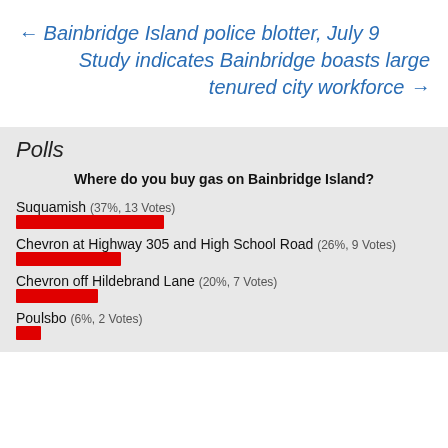← Bainbridge Island police blotter, July 9
Study indicates Bainbridge boasts large tenured city workforce →
Polls
Where do you buy gas on Bainbridge Island?
Suquamish (37%, 13 Votes)
Chevron at Highway 305 and High School Road (26%, 9 Votes)
Chevron off Hildebrand Lane (20%, 7 Votes)
Poulsbo (6%, 2 Votes)